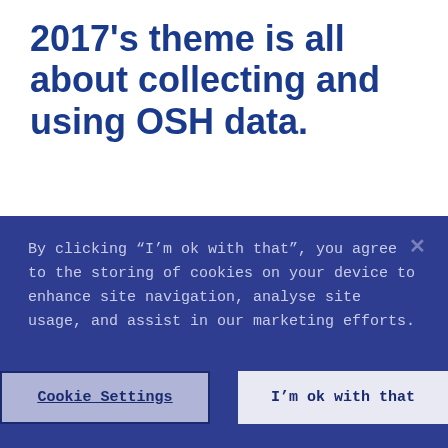2017's theme is all about collecting and using OSH data.
Occupational Safety and Health (OSH) - often called “Health and Safety” - is a recent buzzword, but, essentially,
By clicking “I’m ok with that”, you agree to the storing of cookies on your device to enhance site navigation, analyse site usage, and assist in our marketing efforts.
Cookie Settings
I’m ok with that